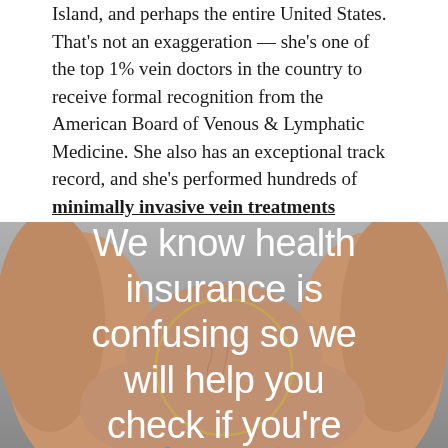Island, and perhaps the entire United States. That's not an exaggeration — she's one of the top 1% vein doctors in the country to receive formal recognition from the American Board of Venous & Lymphatic Medicine. She also has an exceptional track record, and she's performed hundreds of minimally invasive vein treatments without complications or problems. She's incredibly warm and personable, and her patients love her approach enough to fly over from across the country to consult with her.
[Figure (photo): Photo of legs with visible veins, overlaid with large white text reading 'We know health insurance is confusing so we will help you check if you're' with a circular gold/yellow outline element behind the text]